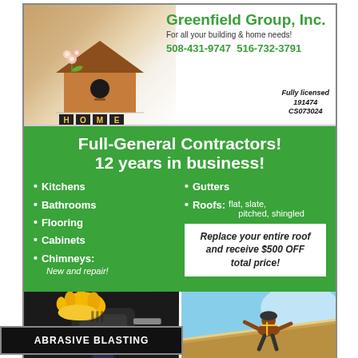Greenfield Group, Inc.
For all your building & home needs!
508-431-9747   516-732-3791
Fully licensed 191474 CS073024
Full-General Contractors! 12 years in business!
Kitchens
Bathrooms
Flooring
Cabinets
Chimneys: New and repair!
Gutters
Roofs: flat, slate, pitched, shingled
Replace your entire roof and receive $500 OFF total price!
[Figure (photo): Two photos: left shows a power drill with yellow glove, right shows a worker on a roof]
ABRASIVE BLASTING